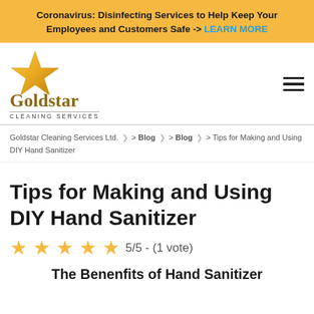Coronavirus: Disinfecting Services to Help Keep Your Employees and Customers Safe -> LEARN MORE
[Figure (logo): Goldstar Cleaning Services logo with gold star and wordmark]
Goldstar Cleaning Services Ltd. > Blog > Blog > Tips for Making and Using DIY Hand Sanitizer
Tips for Making and Using DIY Hand Sanitizer
5/5 - (1 vote)
The Benenfits of Hand Sanitizer